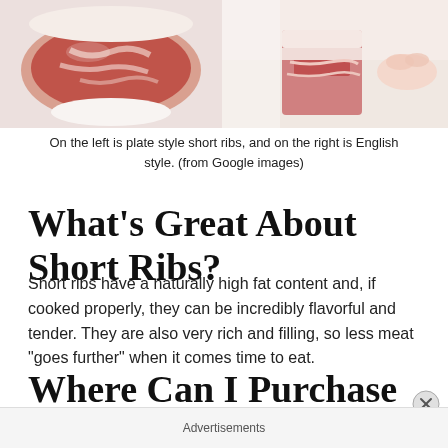[Figure (photo): Two food photos side by side: left shows plate style short ribs (raw marbled beef), right shows English style short ribs being handled on a cutting board.]
On the left is plate style short ribs, and on the right is English style. (from Google images)
What’s Great About Short Ribs?
Short ribs have a naturally high fat content and, if cooked properly, they can be incredibly flavorful and tender. They are also very rich and filling, so less meat “goes further” when it comes time to eat.
Where Can I Purchase Short Ribs?
Advertisements